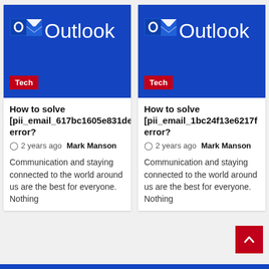[Figure (screenshot): Microsoft Outlook logo on blue background with white envelope icon and 'O' letter, Tech badge in red at bottom left]
How to solve [pii_email_617bc1605e831de error?
2 years ago  Mark Manson
Communication and staying connected to the world around us are the best for everyone. Nothing
[Figure (screenshot): Microsoft Outlook logo on blue background with white envelope icon and 'O' letter, Tech badge in red at bottom left]
How to solve [pii_email_1bc24f13e6217f error?
2 years ago  Mark Manson
Communication and staying connected to the world around us are the best for everyone. Nothing